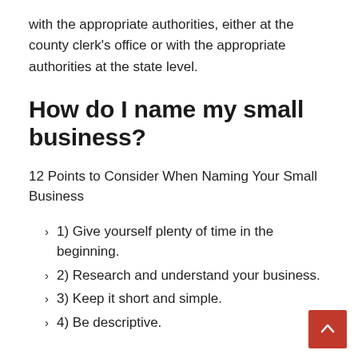with the appropriate authorities, either at the county clerk's office or with the appropriate authorities at the state level.
How do I name my small business?
12 Points to Consider When Naming Your Small Business
1) Give yourself plenty of time in the beginning.
2) Research and understand your business.
3) Keep it short and simple.
4) Be descriptive.